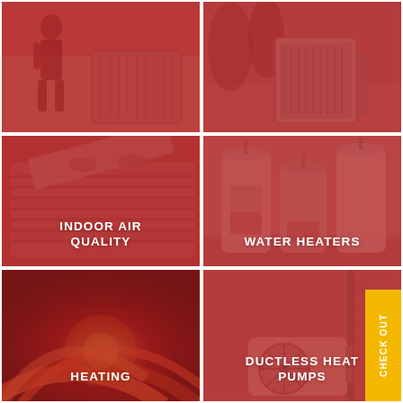[Figure (photo): Person standing next to an outdoor air conditioning/HVAC unit beside a house, red-toned photo]
[Figure (photo): Outdoor HVAC/air conditioning unit next to trees and a building, red-toned photo]
[Figure (photo): Indoor air quality unit/equipment, person opening or working on it, red-toned photo]
[Figure (photo): Multiple water heater tanks/heat pump water heaters outside a house, red-toned photo]
[Figure (photo): Close-up of heating element/furnace glowing red-hot, red-toned photo]
[Figure (photo): Ductless mini-split outdoor unit mounted on a brick wall, red-toned photo]